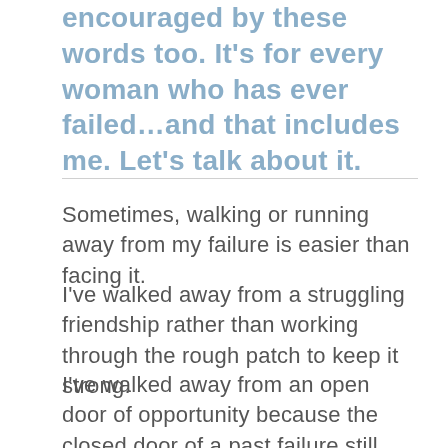encouraged by these words too. It's for every woman who has ever failed…and that includes me. Let's talk about it.
Sometimes, walking or running away from my failure is easier than facing it.
I've walked away from a struggling friendship rather than working through the rough patch to keep it strong.
I've walked away from an open door of opportunity because the closed door of a past failure still resounded in my ears.